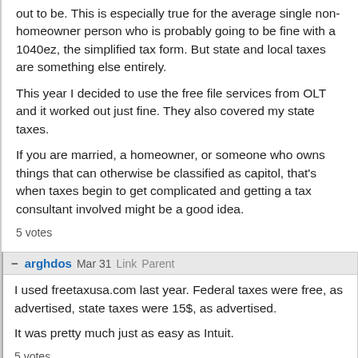out to be. This is especially true for the average single non-homeowner person who is probably going to be fine with a 1040ez, the simplified tax form. But state and local taxes are something else entirely.
This year I decided to use the free file services from OLT and it worked out just fine. They also covered my state taxes.
If you are married, a homeowner, or someone who owns things that can otherwise be classified as capitol, that's when taxes begin to get complicated and getting a tax consultant involved might be a good idea.
5 votes
arghdos  Mar 31  Link  Parent
I used freetaxusa.com last year. Federal taxes were free, as advertised, state taxes were 15$, as advertised.
It was pretty much just as easy as Intuit.
5 votes
mtset  Mar 31  Link  Parent